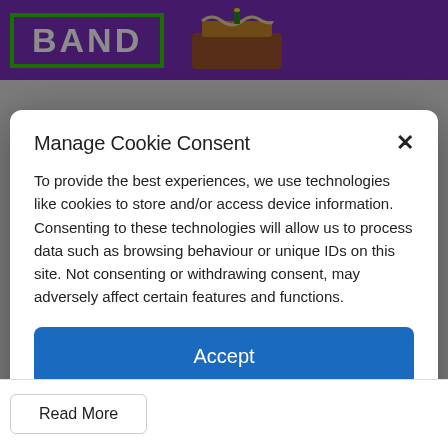[Figure (screenshot): Website banner with purple background showing 'BAND' text in white bold letters with green border, and a brown cake illustration on the right side.]
Manage Cookie Consent
To provide the best experiences, we use technologies like cookies to store and/or access device information. Consenting to these technologies will allow us to process data such as browsing behaviour or unique IDs on this site. Not consenting or withdrawing consent, may adversely affect certain features and functions.
Accept
Deny
View preferences
Cookie Policy   Privacy & Cookie Policy, Terms of Use
Read More